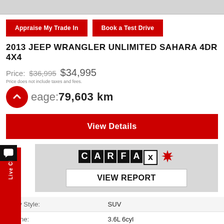2013 JEEP WRANGLER UNLIMITED SAHARA 4DR 4X4
Price: $36,995 $34,995
Price does not include taxes and fees.
Mileage: 79,603 km
[Figure (logo): CARFAX Canada logo with maple leaf]
VIEW REPORT
|  |  |
| --- | --- |
| Body Style: | SUV |
| Engine: | 3.6L 6cyl |
| Exterior Colour: | Other |
| VIN: | 1C4BJWEG3DL634017 |